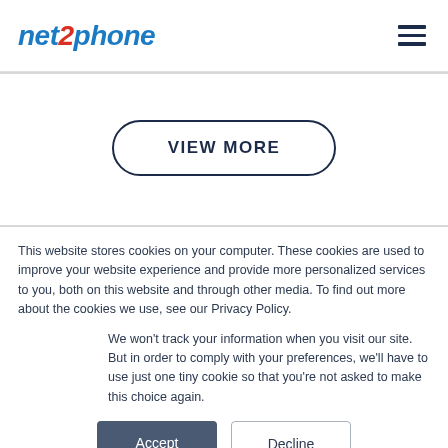net2phone
VIEW MORE
This website stores cookies on your computer. These cookies are used to improve your website experience and provide more personalized services to you, both on this website and through other media. To find out more about the cookies we use, see our Privacy Policy.
We won't track your information when you visit our site. But in order to comply with your preferences, we'll have to use just one tiny cookie so that you're not asked to make this choice again.
Accept
Decline